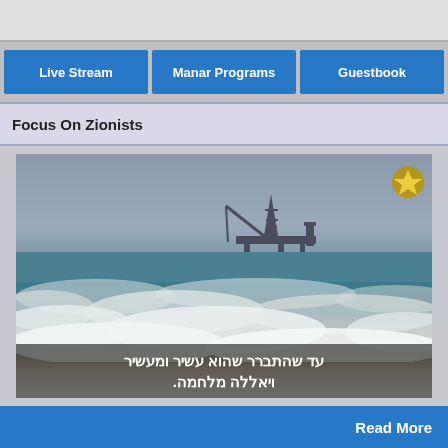Live Stream
Manar Programs
Guestbook
Focus On Zionists
[Figure (screenshot): Video still showing an offshore oil/gas drilling platform on the horizon over the sea, with waves in the foreground. Hebrew subtitles at the bottom read: עד שהתברר שהוא עשיר ומעשיר ויאללה מלחמה. A small gold logo/badge appears in the top right corner of the video.]
Read More